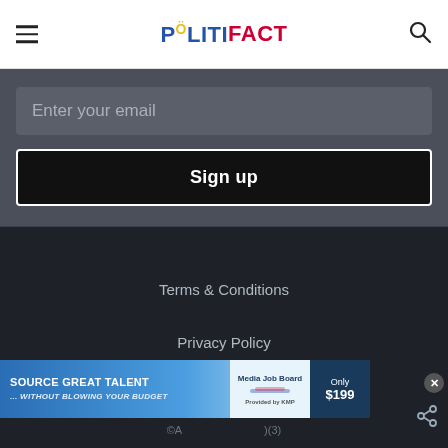PolitiFact
Enter your email
Sign up
Terms & Conditions
Privacy Policy
Copyright
[Figure (screenshot): Ad banner: SOURCE GREAT TALENT ...without blowing your budget. Media Job Board. Only $199.]
©A... (3)